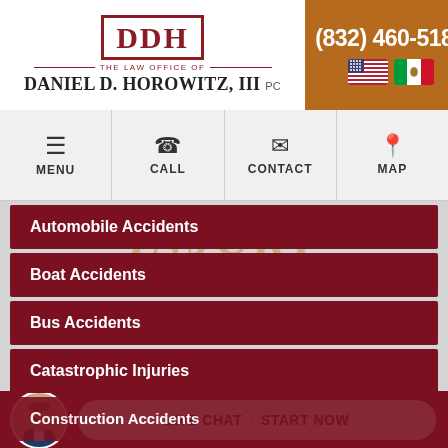[Figure (logo): DDH logo with text: The Law Office of Daniel D. Horowitz, III PC]
(832) 460-5181
[Figure (illustration): US and Mexico flag icons]
[Figure (infographic): Navigation bar with Menu, Call, Contact, Map icons]
PERSONAL INJURY
Automobile Accidents
Boat Accidents
Bus Accidents
Catastrophic Injuries
Construction Accidents
[Figure (photo): Attorney photo with Live Chat - Start Now button]